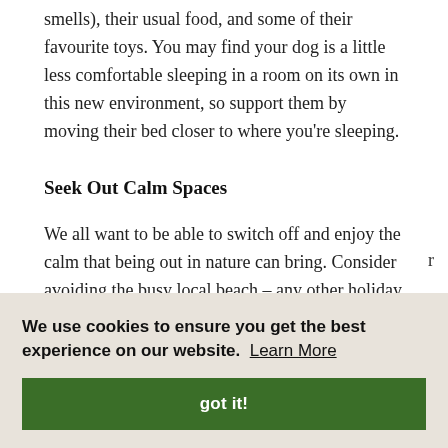smells), their usual food, and some of their favourite toys. You may find your dog is a little less comfortable sleeping in a room on its own in this new environment, so support them by moving their bed closer to where you're sleeping.
Seek Out Calm Spaces
We all want to be able to switch off and enjoy the calm that being out in nature can bring. Consider avoiding the busy local beach – any other holiday
[Figure (screenshot): Cookie consent banner with text: 'We use cookies to ensure you get the best experience on our website. Learn More' and a green 'got it!' button. Partially visible text on the right side reads: 'r', 'the', 'll..', 'back', 'top']